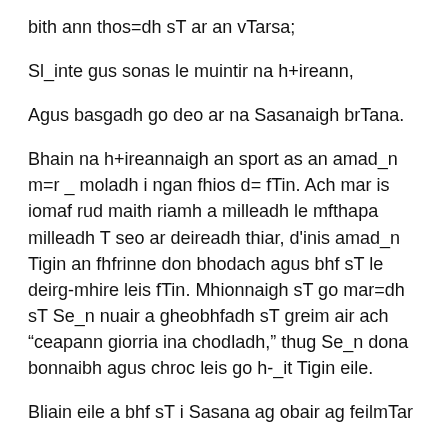bith ann thos=dh sT ar an vTarsa;
Sl_inte gus sonas le muintir na h+ireann,
Agus basgadh go deo ar na Sasanaigh brTana.
Bhain na h+ireannaigh an sport as an amad_n m=r _ moladh i ngan fhios d= fTin. Ach mar is iomaf rud maith riamh a milleadh le mfthapa milleadh T seo ar deireadh thiar, d'inis amad_n Tigin an fhfrinne don bhodach agus bhf sT le deirg-mhire leis fTin. Mhionnaigh sT go mar=dh sT Se_n nuair a gheobhfadh sT greim air ach “ceapann giorria ina chodladh,” thug Se_n dona bonnaibh agus chroc leis go h-_it Tigin eile.
Bliain eile a bhf sT i Sasana ag obair ag feilmTar